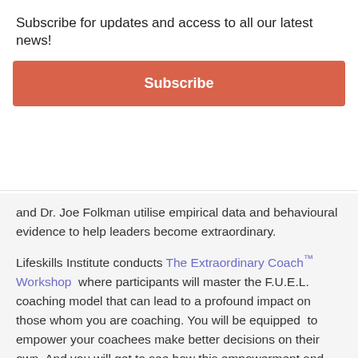Subscribe for updates and access to all our latest news!
Subscribe
and Dr. Joe Folkman utilise empirical data and behavioural evidence to help leaders become extraordinary.
Lifeskills Institute conducts The Extraordinary Coach™ Workshop  where participants will master the F.U.E.L. coaching model that can lead to a profound impact on those whom you are coaching. You will be equipped  to empower your coachees make better decisions on their own. And you will get to see how this empowerment and process correlates to levels of commitment, satisfaction, retainment and profitability. Participants will also receive a self-survey which measures their coaching behavioural preferences and equip themselves with the toolset for effective coaching.